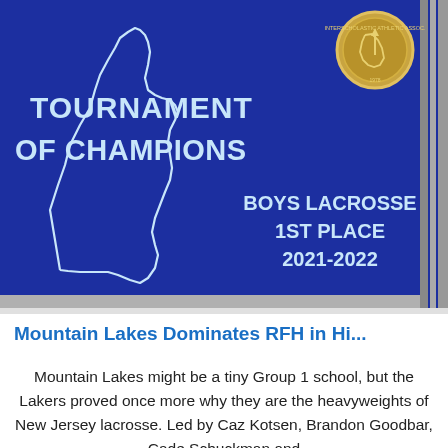[Figure (photo): Photo of a blue tournament plaque/award with white NJ state map outline, gold NJSIAA medal emblem in top right, reading 'TOURNAMENT OF CHAMPIONS / BOYS LACROSSE / 1ST PLACE / 2021-2022' in light blue text]
Mountain Lakes Dominates RFH in Hi...
Mountain Lakes might be a tiny Group 1 school, but the Lakers proved once more why they are the heavyweights of New Jersey lacrosse. Led by Caz Kotsen, Brandon Goodbar, Cade Schuckman and